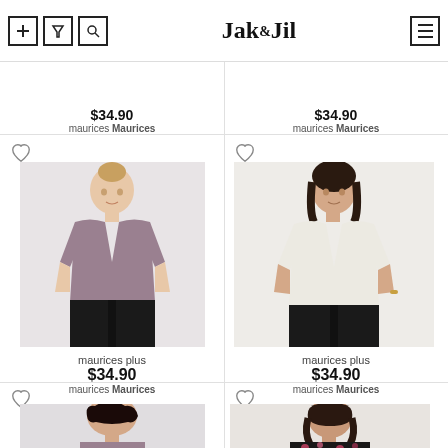Jak & Jil - navigation header with filter, search, and menu icons
$34.90 maurices Maurices (top left, partial)
$34.90 maurices Maurices (top right, partial)
[Figure (photo): Plus-size woman in mauve/taupe blouse with rolled sleeves and black pants]
maurices plus
$34.90
maurices Maurices
[Figure (photo): Plus-size woman in cream/ivory blouse with rolled sleeves and black pants]
maurices plus
$34.90
maurices Maurices
[Figure (photo): Woman in mauve top, curly hair, partial view]
[Figure (photo): Woman in floral blouse, partial view]